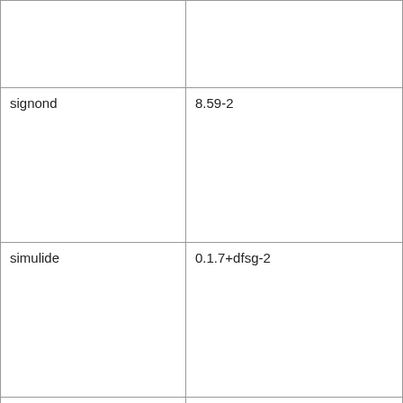|  |  |
| signond | 8.59-2 |
| simulide | 0.1.7+dfsg-2 |
| smplayer | 19.10.2~ds0-1 |